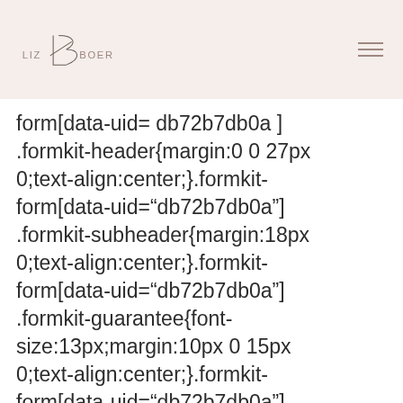LIZ BOER logo with navigation
form[data-uid= db72b7db0a ] .formkit-header{margin:0 0 27px 0;text-align:center;}.formkit-form[data-uid="db72b7db0a"] .formkit-subheader{margin:18px 0;text-align:center;}.formkit-form[data-uid="db72b7db0a"] .formkit-guarantee{font-size:13px;margin:10px 0 15px 0;text-align:center;}.formkit-form[data-uid="db72b7db0a"] .formkit-guarantee >